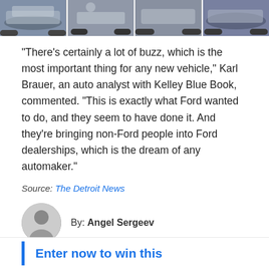[Figure (photo): A strip of four car photos showing Ford Mustang Mach-E vehicles from various angles]
"There's certainly a lot of buzz, which is the most important thing for any new vehicle," Karl Brauer, an auto analyst with Kelley Blue Book, commented. "This is exactly what Ford wanted to do, and they seem to have done it. And they're bringing non-Ford people into Ford dealerships, which is the dream of any automaker."
Source: The Detroit News
By: Angel Sergeev
Enter now to win this